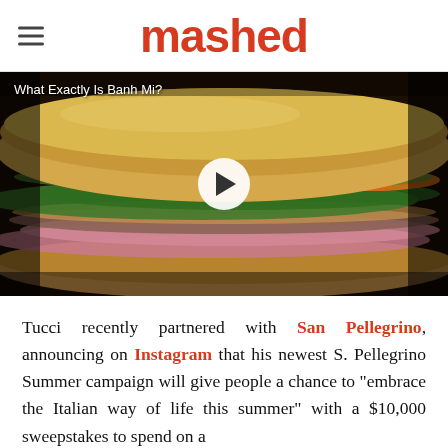mashed
[Figure (photo): Close-up photo of a Banh Mi sandwich with a play button overlay and caption 'What Exactly Is Banh Mi?']
Tucci recently partnered with San Pellegrino, announcing on Instagram that his newest S. Pellegrino Summer campaign will give people a chance to "embrace the Italian way of life this summer" with a $10,000 sweepstakes to spend on a